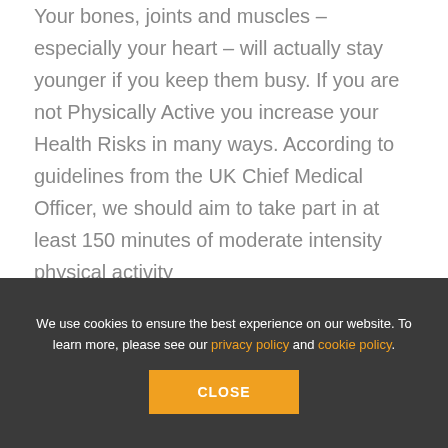Your bones, joints and muscles – especially your heart – will actually stay younger if you keep them busy. If you are not Physically Active you increase your Health Risks in many ways. According to guidelines from the UK Chief Medical Officer, we should aim to take part in at least 150 minutes of moderate intensity physical activity
We use cookies to ensure the best experience on our website. To learn more, please see our privacy policy and cookie policy.